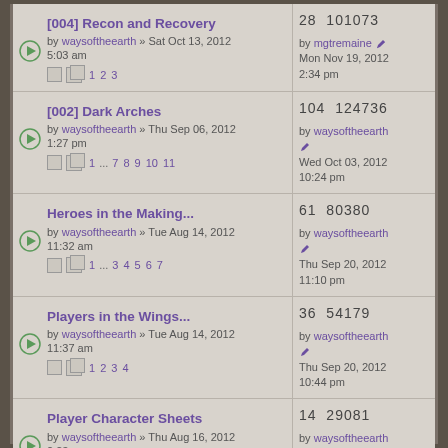[004] Recon and Recovery by waysoftheearth » Sat Oct 13, 2012 5:03 am | Pages 1 2 3 | 28 replies 101073 views | by mgtremaine Mon Nov 19, 2012 2:34 pm
[002] Dark Arches by waysoftheearth » Thu Sep 06, 2012 1:27 pm | Pages 1 ... 7 8 9 10 11 | 104 replies 124736 views | by waysoftheearth Wed Oct 03, 2012 10:24 pm
Heroes in the Making... by waysoftheearth » Tue Aug 14, 2012 11:32 am | Pages 1 ... 3 4 5 6 7 | 61 replies 80380 views | by waysoftheearth Thu Sep 20, 2012 11:10 pm
Players in the Wings... by waysoftheearth » Tue Aug 14, 2012 11:37 am | Pages 1 2 3 4 | 36 replies 54179 views | by waysoftheearth Thu Sep 20, 2012 10:44 pm
Player Character Sheets by waysoftheearth » Thu Aug 16, 2012 2:23 am | Pages 1 2 | 14 replies 29081 views | by waysoftheearth Thu Sep 20, 2012